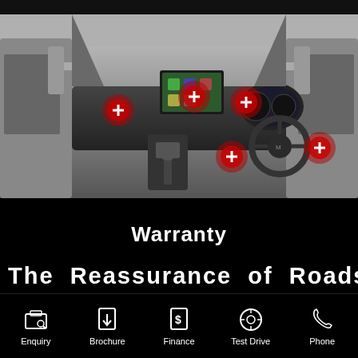[Figure (photo): Interior photo of a van/commercial vehicle dashboard with 5 red circular hotspot markers with white plus signs overlaid on various features]
Warranty
The Reassurance of Roadside
Enquiry  Brochure  Finance  Test Drive  Phone